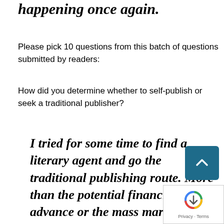happening once again.
Please pick 10 questions from this batch of questions submitted by readers:
How did you determine whether to self-publish or seek a traditional publisher?
I tried for some time to find a literary agent and go the traditional publishing route. More than the potential financial advance or the mass market of my book, what I was really seeking was the approval... the affirmation that my writing w... good. What I got instead was a lot of